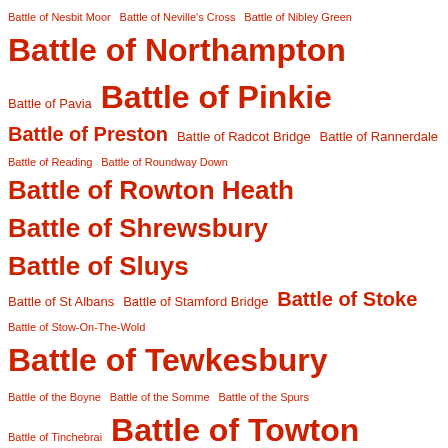Battle of Nesbit Moor  Battle of Neville's Cross  Battle of Nibley Green  Battle of Northampton  Battle of Pavia  Battle of Pinkie  Battle of Preston  Battle of Radcot Bridge  Battle of Rannerdale  Battle of Reading  Battle of Roundway Down  Battle of Rowton Heath  Battle of Shrewsbury  Battle of Sluys  Battle of St Albans  Battle of Stamford Bridge  Battle of Stoke  Battle of Stow-On-The-Wold  Battle of Tewkesbury  Battle of the Boyne  Battle of the Somme  Battle of the Spurs  Battle of Tinchebrai  Battle of Towton  Battle of Wakefield  Battle of Wakfield  Battle of Waterloo  Battle of Winchelsea  battles  Bayeaux Tapestry  Bayeux Tapestry  bear and ragged staff  Beatrice de Taillebois  Beatrice FitzRichard  Beatrice Mortimer  Beaufort  Beaufort family tree  Beaulieu  Beaulieu Abbey  Beaumaris  Beaumaris Castle  Beauvale Priory  Bedale  Beddington  Bede  Bedford Book of Hours  Bedlam  Bedstone Court  Beha ad-Din  Bellars Inheritance  Bellingham  Belvoir  Belvoir Witches  Bend Or  Benedictine  Benedictine monks  Benedictine nun  Ben Johnson  Beowulf